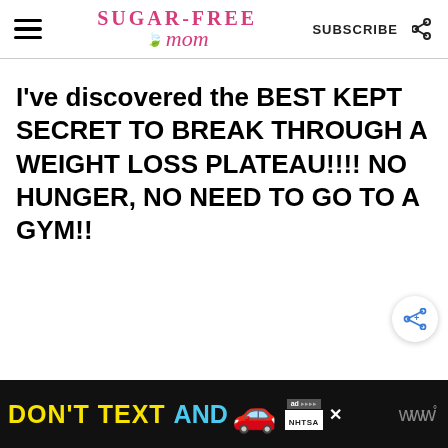Sugar-Free Mom | SUBSCRIBE
I've discovered the BEST KEPT SECRET TO BREAK THROUGH A WEIGHT LOSS PLATEAU!!!! NO HUNGER, NO NEED TO GO TO A GYM!!
[Figure (screenshot): Share button (circular white button with share icon)]
[Figure (screenshot): Ad banner: DON'T TEXT AND [car emoji] ad by NHTSA]